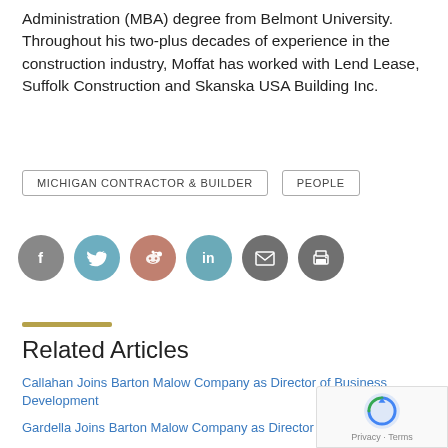Administration (MBA) degree from Belmont University. Throughout his two-plus decades of experience in the construction industry, Moffat has worked with Lend Lease, Suffolk Construction and Skanska USA Building Inc.
MICHIGAN CONTRACTOR & BUILDER
PEOPLE
[Figure (infographic): Social media share buttons: Facebook (grey), Twitter (blue-grey), Reddit (brownish-pink), LinkedIn (teal-blue), Email (dark grey), Print (dark grey)]
Related Articles
Callahan Joins Barton Malow Company as Director of Business Development
Gardella Joins Barton Malow Company as Director
Czarnecki Returns to Barton Malow as Newest Senior Direct